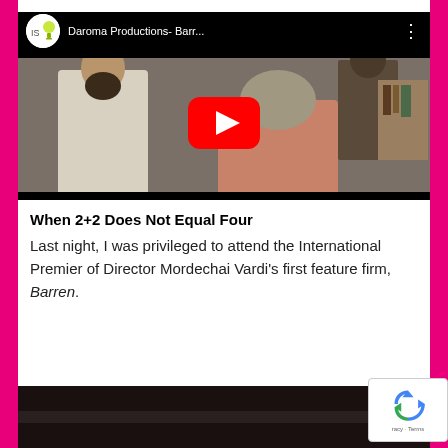[Figure (screenshot): YouTube video thumbnail for 'Daroma Productions- Barr...' showing two people in a room, with YouTube play button overlay and channel logo]
When 2+2 Does Not Equal Four
Last night, I was privileged to attend the International Premier of Director Mordechai Vardi’s first feature firm, Barren.
[Figure (screenshot): Bottom portion of a dark video thumbnail, partially visible]